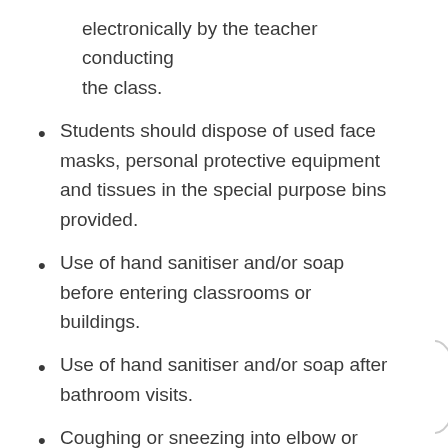electronically by the teacher conducting the class.
Students should dispose of used face masks, personal protective equipment and tissues in the special purpose bins provided.
Use of hand sanitiser and/or soap before entering classrooms or buildings.
Use of hand sanitiser and/or soap after bathroom visits.
Coughing or sneezing into elbow or tissue and safe disposal of all tissues.